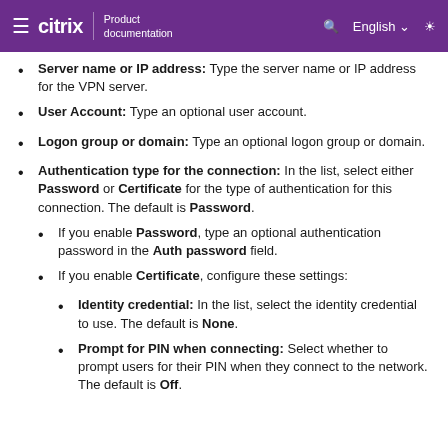Citrix Product documentation — English
Server name or IP address: Type the server name or IP address for the VPN server.
User Account: Type an optional user account.
Logon group or domain: Type an optional logon group or domain.
Authentication type for the connection: In the list, select either Password or Certificate for the type of authentication for this connection. The default is Password.
If you enable Password, type an optional authentication password in the Auth password field.
If you enable Certificate, configure these settings:
Identity credential: In the list, select the identity credential to use. The default is None.
Prompt for PIN when connecting: Select whether to prompt users for their PIN when they connect to the network. The default is Off.